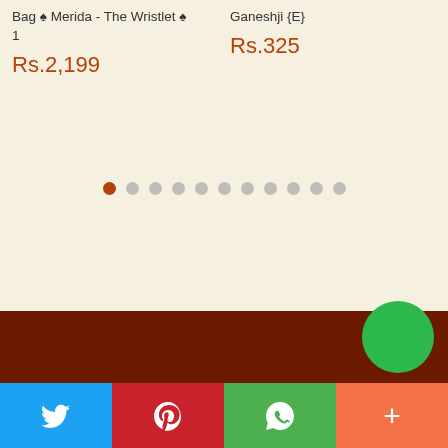Bag ♠ Merida - The Wristlet ♠ 1
Ganeshji {E}
Rs.2,199
Rs.325
[Figure (other): Carousel pagination dots — 11 dots total, first dot highlighted in brown/orange, rest in gray]
[Figure (other): Dark brown footer bar with a green circle button on right, and a social sharing bar below with Twitter (blue), Pinterest (red), WhatsApp (green), and More (coral/orange) buttons]